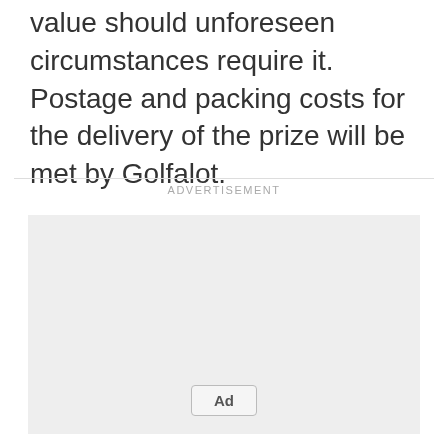value should unforeseen circumstances require it. Postage and packing costs for the delivery of the prize will be met by Golfalot.
[Figure (other): Advertisement placeholder box with 'ADVERTISEMENT' label above a grey rectangle containing an 'Ad' button at the bottom center.]